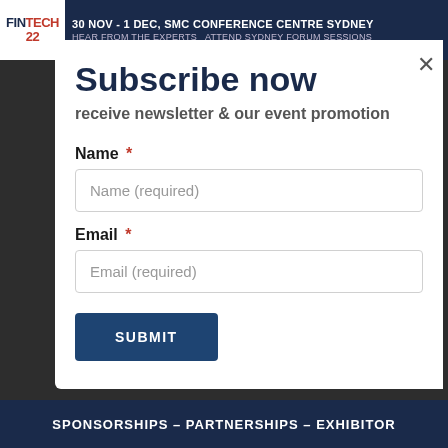[Figure (screenshot): FINTECH22 banner with date 30 NOV - 1 DEC, SMC CONFERENCE CENTRE SYDNEY and text HEAR FROM THE EXPERTS ATTEND SYDNEY FORUM SESSIONS]
Subscribe now
receive newsletter & our event promotion
Name *
Name (required)
Email *
Email (required)
SUBMIT
SPONSORSHIPS – PARTNERSHIPS – EXHIBITOR